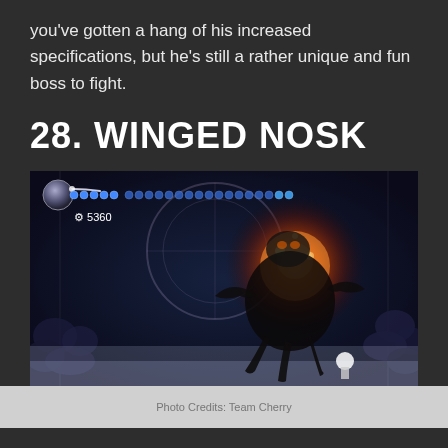you've gotten a hang of his increased specifications, but he's still a rather unique and fun boss to fight.
28. WINGED NOSK
[Figure (screenshot): Hollow Knight gameplay screenshot showing Winged Nosk boss fight. The boss appears as a large dark creature with an orange glowing orb body, in a dark decorated chamber. HUD shows soul vessel, health masks, and 5360 geo currency.]
Photo Credits: Team Cherry